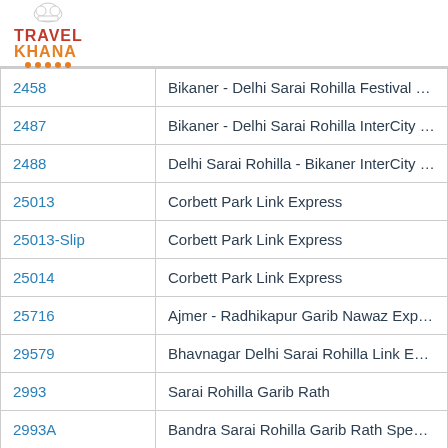[Figure (logo): TravelKhana logo with chef hat icon, red TRAVEL text and orange KHANA text with dots]
| 2458 | Bikaner - Delhi Sarai Rohilla Festival Speci |
| 2487 | Bikaner - Delhi Sarai Rohilla InterCity SF S |
| 2488 | Delhi Sarai Rohilla - Bikaner InterCity SF S |
| 25013 | Corbett Park Link Express |
| 25013-Slip | Corbett Park Link Express |
| 25014 | Corbett Park Link Express |
| 25716 | Ajmer - Radhikapur Garib Nawaz Express |
| 29579 | Bhavnagar Delhi Sarai Rohilla Link Express |
| 2993 | Sarai Rohilla Garib Rath |
| 2993A | Bandra Sarai Rohilla Garib Rath Special |